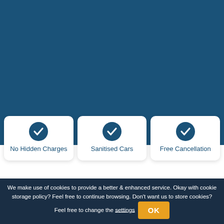[Figure (illustration): Dark blue background banner occupying the top half of the page, representing a website hero/header area for a car rental comparison service.]
No Hidden Charges
Sanitised Cars
Free Cancellation
Compare Top Car Rental Companies for Brunei
We make use of cookies to provide a better & enhanced service. Okay with cookie storage policy? Feel free to continue browsing. Don't want us to store cookies? Feel free to change the settings OK